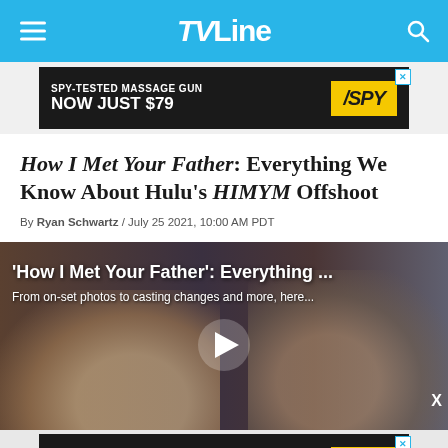TVLine
[Figure (other): SPY advertisement banner: SPY-TESTED MASSAGE GUN NOW JUST $79]
How I Met Your Father: Everything We Know About Hulu's HIMYM Offshoot
By Ryan Schwartz / July 25 2021, 10:00 AM PDT
[Figure (screenshot): Video thumbnail for 'How I Met Your Father': Everything ... with subtitle 'From on-set photos to casting changes and more, here...' showing two actors with play button overlay]
[Figure (other): SPY advertisement banner: $279 IPADS ARE HERE LIMITED-TIME DEAL]